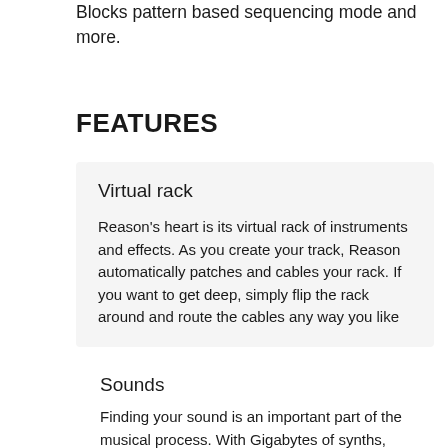Blocks pattern based sequencing mode and more.
FEATURES
Virtual rack
Reason's heart is its virtual rack of instruments and effects. As you create your track, Reason automatically patches and cables your rack. If you want to get deep, simply flip the rack around and route the cables any way you like
Sounds
Finding your sound is an important part of the musical process. With Gigabytes of synths, samples, drum kits, and effects, Reason's sound bank is packed with everything you'll need from